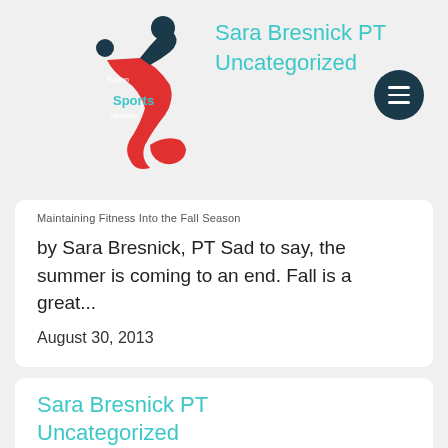[Figure (logo): Boston Sports Medicine logo with a figure kicking/jumping]
Sara Bresnick PT Uncategorized
[Figure (other): Hamburger menu button (dark circle with three horizontal lines)]
Maintaining Fitness Into the Fall Season
by Sara Bresnick, PT Sad to say, the summer is coming to an end.  Fall is a great...
August 30, 2013
Sara Bresnick PT Uncategorized
Spring Tune Up